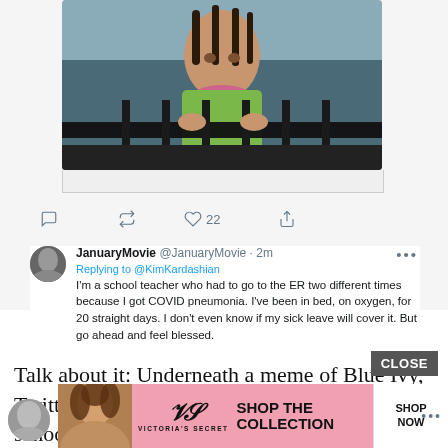[Figure (screenshot): Screenshot of a Twitter/social media thread showing a photo of a young child (Blue Ivy) holding onto a black fence railing, with Twitter action bar icons below]
JanuaryMovie @JanuaryMovie · 2m
Replying to @KimKardashian
I'm a school teacher who had to go to the ER two different times because I got COVID pneumonia. I've been in bed, on oxygen, for 20 straight days. I don't even know if my sick leave will cover it. But go ahead and feel blessed.
Talk about it: Underneath a meme of Blue Ivy, Twitter user @JanuaryMovie wrote: 'I'm a school teacher who had to go to the ER two different times because I got COVID pneumonia. I've been in bed, on oxygen, for 20 straight days. I don't even know if my sick leave will cover it. But go ahead and feel blessed'
[Figure (screenshot): Victoria's Secret advertisement banner showing a model, VS logo, 'SHOP THE COLLECTION', and 'SHOP NOW' button]